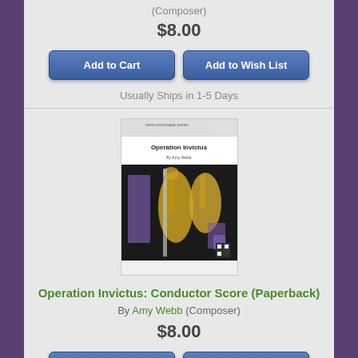(Composer)
$8.00
Add to Cart
Add to Wish List
Usually Ships in 1-5 Days
[Figure (photo): Book cover of Operation Invictus showing musical instruments including saxophone, trumpet, and flute on a black background with purple accents]
Operation Invictus: Conductor Score (Paperback)
By Amy Webb (Composer)
$8.00
Add to Cart
Add to Wish List
Usually Ships in 1-5 Days